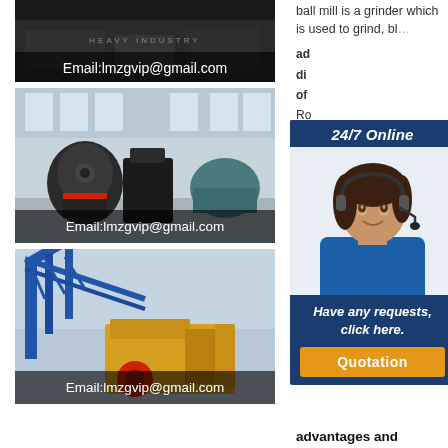[Figure (photo): Industrial machinery photo with email watermark, dark banner at top showing Email:lmzgvip@gmail.com]
[Figure (photo): Large industrial crusher/grinder machines in a factory hall with Email:lmzgvip@gmail.com overlay]
[Figure (photo): Yellow industrial machinery with blue conveyor structure, Email:lmzgvip@gmail.com overlay]
ball mill is a grinder which is used to grind, bl...
[Figure (illustration): 24/7 Online popup with customer service representative photo, 'Have any requests, click here.' text and Quotation button]
advantages disadvantages of ball mill -- fengantai
2011-3-13 · March 13, 2011 PRLog-- Ball mill is the material to